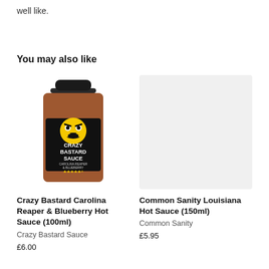well like.
You may also like
[Figure (photo): Bottle of Crazy Bastard Carolina Reaper & Blueberry Hot Sauce (100ml) with black label featuring yellow face logo]
Crazy Bastard Carolina Reaper & Blueberry Hot Sauce (100ml)
Crazy Bastard Sauce
£6.00
[Figure (photo): Placeholder/blank product image for Common Sanity Louisiana Hot Sauce (150ml)]
Common Sanity Louisiana Hot Sauce (150ml)
Common Sanity
£5.95